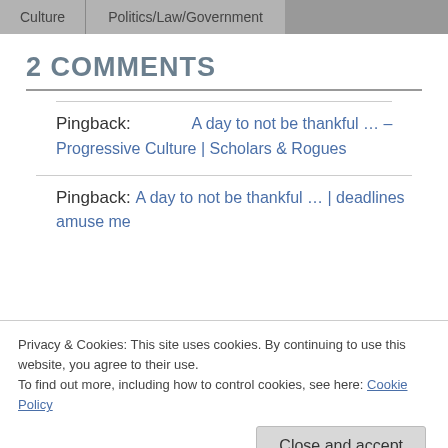| Culture | Politics/Law/Government |
| --- | --- |
2 COMMENTS
Pingback: A day to not be thankful … – Progressive Culture | Scholars & Rogues
Pingback: A day to not be thankful … | deadlines amuse me
Privacy & Cookies: This site uses cookies. By continuing to use this website, you agree to their use.
To find out more, including how to control cookies, see here: Cookie Policy
Close and accept
Your email address will not be published. Required